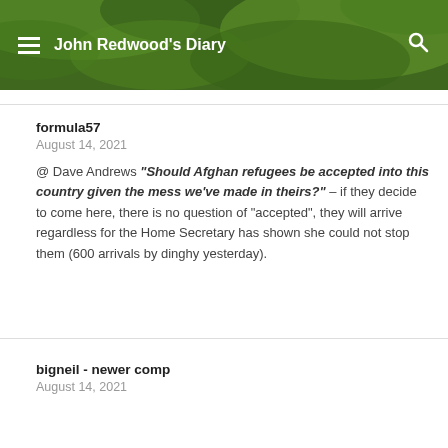John Redwood's Diary
formula57
August 14, 2021
@ Dave Andrews “Should Afghan refugees be accepted into this country given the mess we’ve made in theirs?” – if they decide to come here, there is no question of “accepted”, they will arrive regardless for the Home Secretary has shown she could not stop them (600 arrivals by dinghy yesterday).
bigneil - newer comp
August 14, 2021